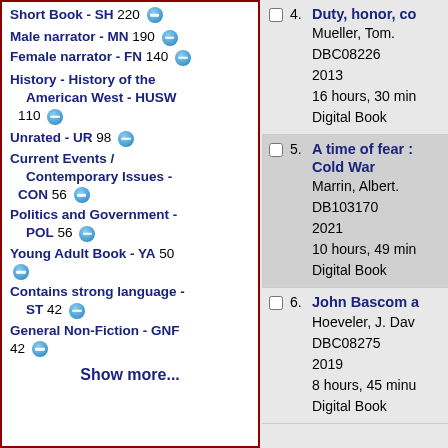Short Book - SH 220
Male narrator - MN 190
Female narrator - FN 140
History - History of the American West - HUSW 110
Unrated - UR 98
Current Events / Contemporary Issues - CON 56
Politics and Government - POL 56
Young Adult Book - YA 50
Contains strong language - ST 42
General Non-Fiction - GNF 42
Show more...
4. Duty, honor, co...
Mueller, Tom.
DBC08226
2013
16 hours, 30 min...
Digital Book
5. A time of fear : Cold War
Marrin, Albert.
DB103170
2021
10 hours, 49 min...
Digital Book
6. John Bascom a...
Hoeveler, J. Dav...
DBC08275
2019
8 hours, 45 minu...
Digital Book